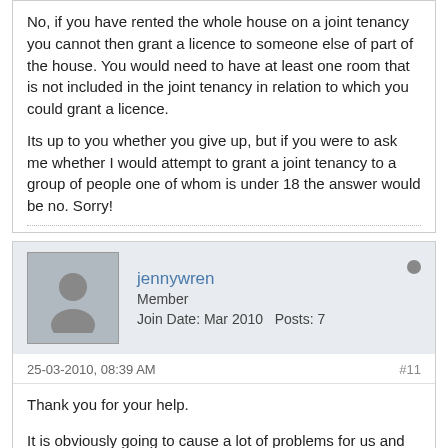No, if you have rented the whole house on a joint tenancy you cannot then grant a licence to someone else of part of the house. You would need to have at least one room that is not included in the joint tenancy in relation to which you could grant a licence.
Its up to you whether you give up, but if you were to ask me whether I would attempt to grant a joint tenancy to a group of people one of whom is under 18 the answer would be no. Sorry!
jennywren
Member
Join Date: Mar 2010   Posts: 7
25-03-2010, 08:39 AM
#11
Thank you for your help.
It is obviously going to cause a lot of problems for us and /or the other tenants whatever route we go down....I will abandon the idea completely!
Thanks again, advice much appreciated.